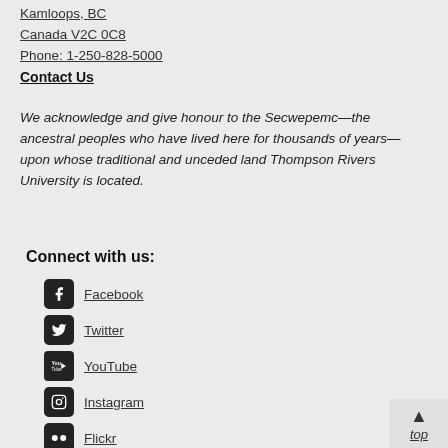Kamloops, BC
Canada V2C 0C8
Phone: 1-250-828-5000
Contact Us
We acknowledge and give honour to the Secwepemc—the ancestral peoples who have lived here for thousands of years—upon whose traditional and unceded land Thompson Rivers University is located.
Connect with us:
Facebook
Twitter
YouTube
Instagram
Flickr
Mobile App
top